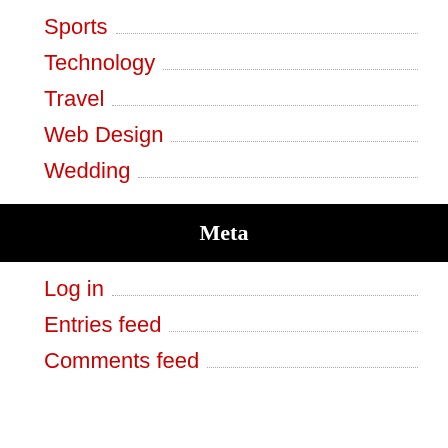Sports
Technology
Travel
Web Design
Wedding
Meta
Log in
Entries feed
Comments feed